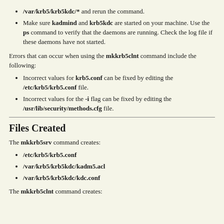/var/krb5/krb5kdc/* and rerun the command.
Make sure kadmind and krb5kdc are started on your machine. Use the ps command to verify that the daemons are running. Check the log file if these daemons have not started.
Errors that can occur when using the mkkrb5clnt command include the following:
Incorrect values for krb5.conf can be fixed by editing the /etc/krb5/krb5.conf file.
Incorrect values for the -i flag can be fixed by editing the /usr/lib/security/methods.cfg file.
Files Created
The mkkrb5srv command creates:
/etc/krb5/krb5.conf
/var/krb5/krb5kdc/kadm5.acl
/var/krb5/krb5kdc/kdc.conf
The mkkrb5clnt command creates: